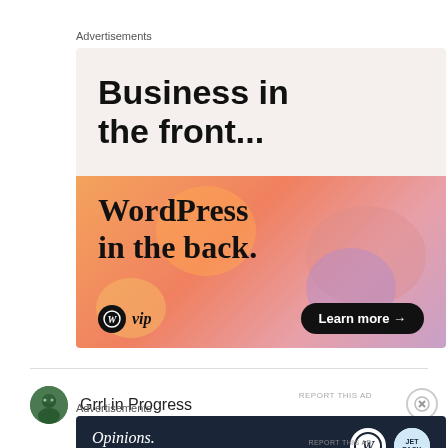Advertisements
[Figure (infographic): WordPress VIP advertisement. Upper half: light beige background with large bold text 'Business in the front...' Lower half: colorful gradient background (orange, peach, pink, lavender) with serif text 'WordPress in the back.' and WordPress VIP logo with 'Learn more →' dark pill button.]
REPORT THIS AD
Grrl in Progress
Advertisements
[Figure (infographic): Dark navy advertisement banner: 'Opinions. We all have them!' with WordPress and Jetpack logos on the right.]